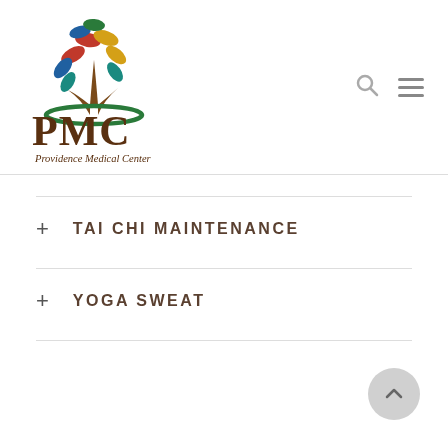[Figure (logo): PMC Providence Medical Center logo — colorful tree with leaves in red, blue, gold, green, teal above brown trunk with green ground arc, PMC text in dark brown serif font, 'Providence Medical Center' in italic script below]
+ TAI CHI MAINTENANCE
+ YOGA SWEAT